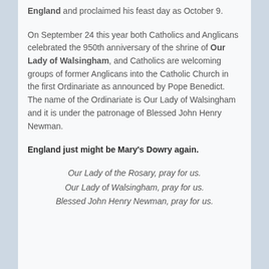England and proclaimed his feast day as October 9.
On September 24 this year both Catholics and Anglicans celebrated the 950th anniversary of the shrine of Our Lady of Walsingham, and Catholics are welcoming groups of former Anglicans into the Catholic Church in the first Ordinariate as announced by Pope Benedict. The name of the Ordinariate is Our Lady of Walsingham and it is under the patronage of Blessed John Henry Newman.
England just might be Mary's Dowry again.
Our Lady of the Rosary, pray for us.
Our Lady of Walsingham, pray for us.
Blessed John Henry Newman, pray for us.